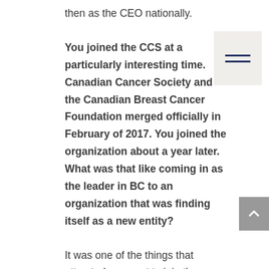then as the CEO nationally.
You joined the CCS at a particularly interesting time. Canadian Cancer Society and the Canadian Breast Cancer Foundation merged officially in February of 2017. You joined the organization about a year later. What was that like coming in as the leader in BC to an organization that was finding itself as a new entity?
It was one of the things that attracted me most to join the organization. I had a personal experience with cancer that opened my eyes to the importance of cancer organizations because my father passed away from cancer two years prior to joining CCS. When I looked at what the Canadian Cancer Society was doing, they had been through a couple of major